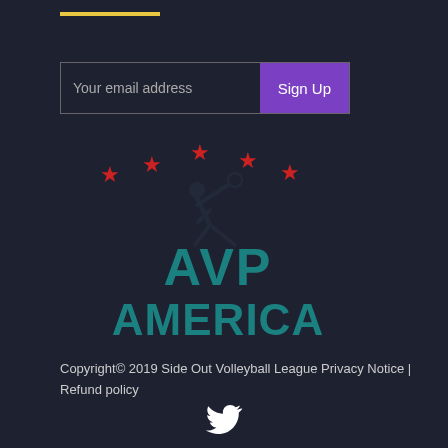[Figure (logo): AVP America logo with red stars and volleyball player silhouette, teal text]
Your email address
Sign Up
Copyright© 2019 Side Out Volleyball League Privacy Notice | Refund policy
[Figure (logo): Twitter bird icon in white]